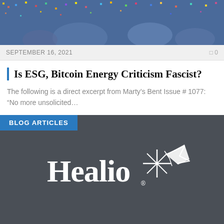[Figure (photo): Colorful mosaic/pixel art image of a cityscape or building with domes, featuring multicolored dots in blue, yellow, red, and green tones]
SEPTEMBER 16, 2021	□ 0
Is ESG, Bitcoin Energy Criticism Fascist?
The following is a direct excerpt from Marty’s Bent Issue # 1077: “No more unsolicited…
BLOG ARTICLES
[Figure (logo): Healio logo in white on dark gray background, with stylized star/sparkle graphic to the right of the text]